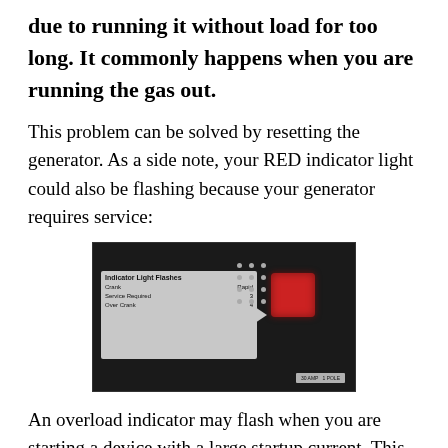due to running it without load for too long. It commonly happens when you are running the gas out.
This problem can be solved by resetting the generator. As a side note, your RED indicator light could also be flashing because your generator requires service:
[Figure (photo): Photo of a generator indicator light panel showing a label with 'Indicator Light Flashes', listing Crank (Rapid), Service Required (3), Over Crank (4), with a red indicator light square and dot grid visible.]
An overload indicator may flash when you are starting a device with a large startup current. This indicates